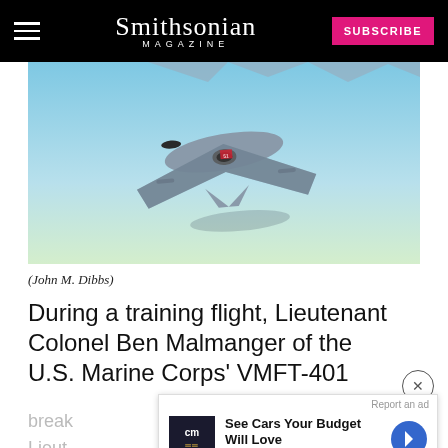Smithsonian MAGAZINE
[Figure (photo): Military jet aircraft photographed in flight against a light blue sky, viewed from below and behind, showing the aircraft's underside with visible weapons/fuel pod attachments.]
(John M. Dibbs)
During a training flight, Lieutenant Colonel Ben Malmanger of the U.S. Marine Corps' VMFT-401
break ... le Lieute ... commo ...
[Figure (other): CarMax advertisement overlay: 'See Cars Your Budget Will Love' with CarMax logo and navigation arrow icon.]